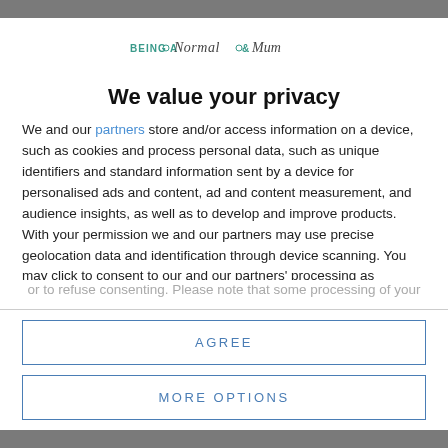[Figure (logo): Being a Normal Mum blog logo with decorative text]
We value your privacy
We and our partners store and/or access information on a device, such as cookies and process personal data, such as unique identifiers and standard information sent by a device for personalised ads and content, ad and content measurement, and audience insights, as well as to develop and improve products. With your permission we and our partners may use precise geolocation data and identification through device scanning. You may click to consent to our and our partners' processing as described above. Alternatively you may access more detailed information and change your preferences before consenting or to refuse consenting. Please note that some processing of your
AGREE
MORE OPTIONS